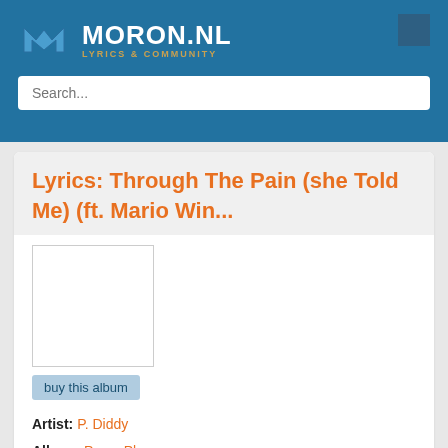MORON.NL — LYRICS & COMMUNITY
Lyrics: Through The Pain (she Told Me) (ft. Mario Win...
[Figure (photo): Album cover image placeholder (white rectangle with border)]
buy this album
Artist: P. Diddy
Album: Press Play
Song: Through The Pain (she Told Me) (ft. Mario Winans)
Released: 2006